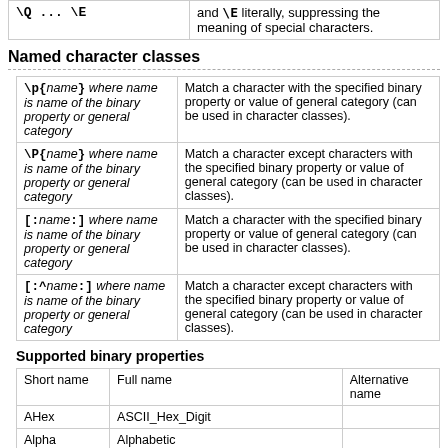| Syntax | Description |
| --- | --- |
| \Q ... \E | and \E literally, suppressing the meaning of special characters. |
Named character classes
| Syntax | Description |
| --- | --- |
| \p{name} where name is name of the binary property or general category | Match a character with the specified binary property or value of general category (can be used in character classes). |
| \P{name} where name is name of the binary property or general category | Match a character except characters with the specified binary property or value of general category (can be used in character classes). |
| [:name:] where name is name of the binary property or general category | Match a character with the specified binary property or value of general category (can be used in character classes). |
| [:^name:] where name is name of the binary property or general category | Match a character except characters with the specified binary property or value of general category (can be used in character classes). |
Supported binary properties
| Short name | Full name | Alternative name |
| --- | --- | --- |
| AHex | ASCII_Hex_Digit |  |
| Alpha | Alphabetic |  |